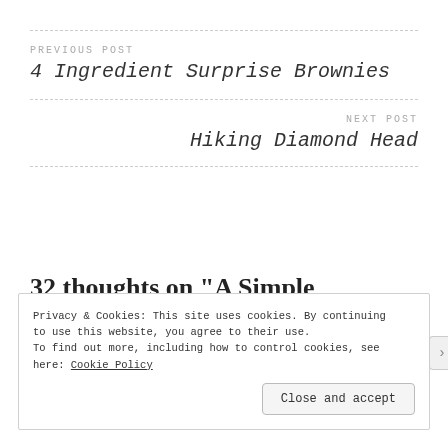PREVIOUS POST
4 Ingredient Surprise Brownies
NEXT POST
Hiking Diamond Head
32 thoughts on “A Simple Compliment Goes A Long Way”
Privacy & Cookies: This site uses cookies. By continuing to use this website, you agree to their use.
To find out more, including how to control cookies, see here: Cookie Policy
Close and accept